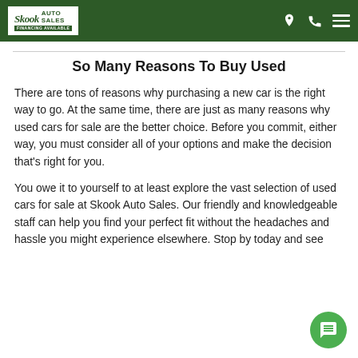Skook Auto Sales — FINANCING AVAILABLE
So Many Reasons To Buy Used
There are tons of reasons why purchasing a new car is the right way to go. At the same time, there are just as many reasons why used cars for sale are the better choice. Before you commit, either way, you must consider all of your options and make the decision that's right for you.
You owe it to yourself to at least explore the vast selection of used cars for sale at Skook Auto Sales. Our friendly and knowledgeable staff can help you find your perfect fit without the headaches and hassle you might experience elsewhere. Stop by today and see the Skook Auto Sales difference for yourself.